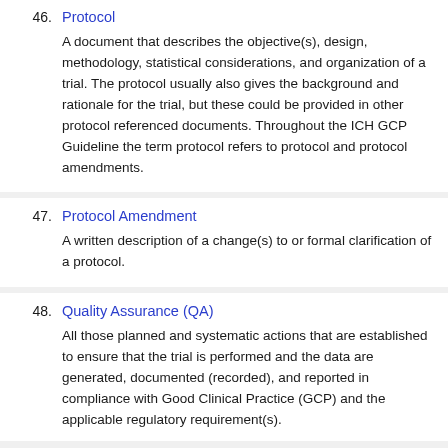46. Protocol
A document that describes the objective(s), design, methodology, statistical considerations, and organization of a trial. The protocol usually also gives the background and rationale for the trial, but these could be provided in other protocol referenced documents. Throughout the ICH GCP Guideline the term protocol refers to protocol and protocol amendments.
47. Protocol Amendment
A written description of a change(s) to or formal clarification of a protocol.
48. Quality Assurance (QA)
All those planned and systematic actions that are established to ensure that the trial is performed and the data are generated, documented (recorded), and reported in compliance with Good Clinical Practice (GCP) and the applicable regulatory requirement(s).